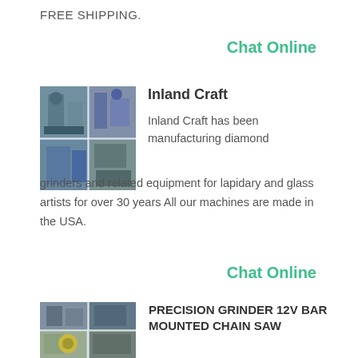FREE SHIPPING.
Chat Online
Inland Craft
[Figure (photo): Industrial grinding/manufacturing equipment photo collage]
Inland Craft has been manufacturing diamond grinders and related equipment for lapidary and glass artists for over 30 years All our machines are made in the USA.
Chat Online
[Figure (photo): Industrial grinder/machinery photo collage]
PRECISION GRINDER 12V BAR MOUNTED CHAIN SAW